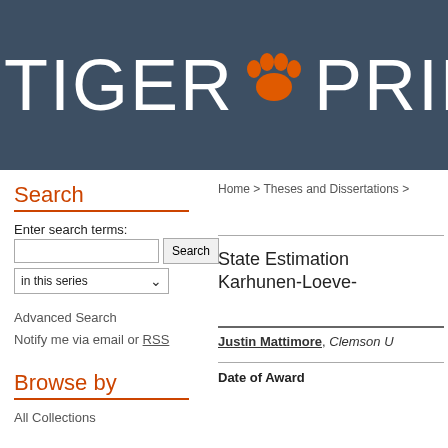[Figure (logo): TigerPrint repository logo — dark blue-gray banner with white text 'TIGER PRINT' and an orange tiger paw print between the words]
Home > Theses and Dissertations >
Search
Enter search terms:
in this series
Advanced Search
Notify me via email or RSS
Browse by
All Collections
State Estimation Karhunen-Loeve-
Justin Mattimore, Clemson U
Date of Award